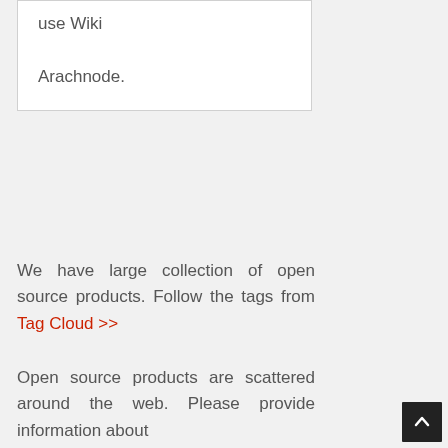use Wiki

Arachnode.
We have large collection of open source products. Follow the tags from Tag Cloud >>
Open source products are scattered around the web. Please provide information about